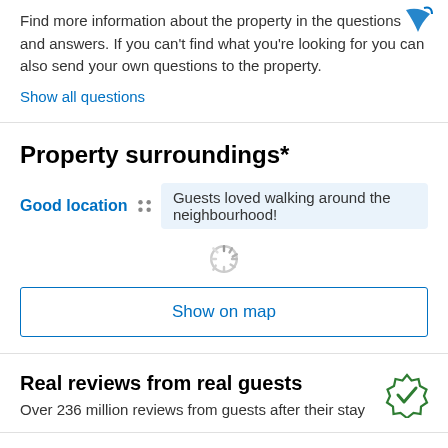Find more information about the property in the questions and answers. If you can't find what you're looking for you can also send your own questions to the property.
Show all questions
Property surroundings*
Good location — Guests loved walking around the neighbourhood!
[Figure (other): Loading spinner]
Show on map
Real reviews from real guests
Over 236 million reviews from guests after their stay
Accommodation Policies